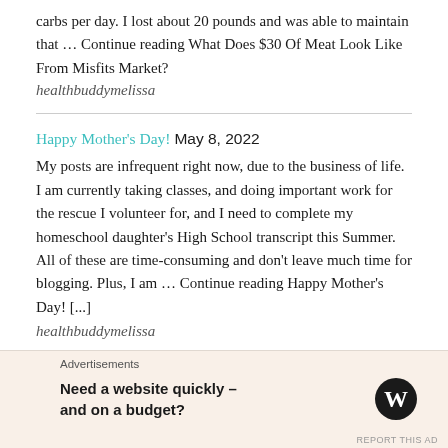carbs per day. I lost about 20 pounds and was able to maintain that … Continue reading What Does $30 Of Meat Look Like From Misfits Market?
healthbuddymelissa
Happy Mother's Day! May 8, 2022
My posts are infrequent right now, due to the business of life. I am currently taking classes, and doing important work for the rescue I volunteer for, and I need to complete my homeschool daughter's High School transcript this Summer. All of these are time-consuming and don't leave much time for blogging. Plus, I am … Continue reading Happy Mother's Day! [...]
healthbuddymelissa
Advertisements
Need a website quickly – and on a budget?